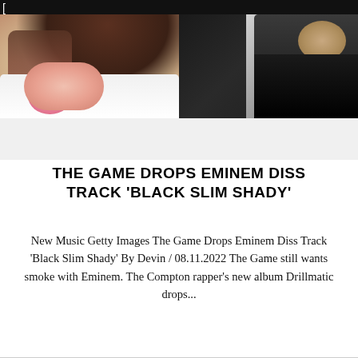[
[Figure (photo): Split photo: left side shows a person with tattoos wearing a white t-shirt with a pink graphic, right side shows a person in a black leather jacket against a backdrop with partial text 'PHIR' visible]
THE GAME DROPS EMINEM DISS TRACK 'BLACK SLIM SHADY'
New Music Getty Images The Game Drops Eminem Diss Track 'Black Slim Shady' By Devin / 08.11.2022 The Game still wants smoke with Eminem. The Compton rapper's new album Drillmatic drops...